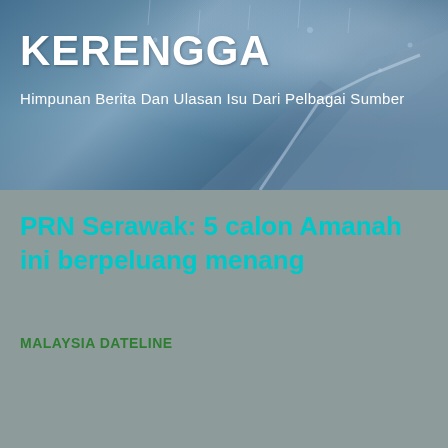[Figure (photo): Header background photo of misty mountain/rock landscape with rain droplets, blue-grey tones]
KERENGGA
Himpunan Berita Dan Ulasan Isu Dari Pelbagai Sumber
PRN Serawak: 5 calon Amanah ini berpeluang menang
MALAYSIA DATELINE